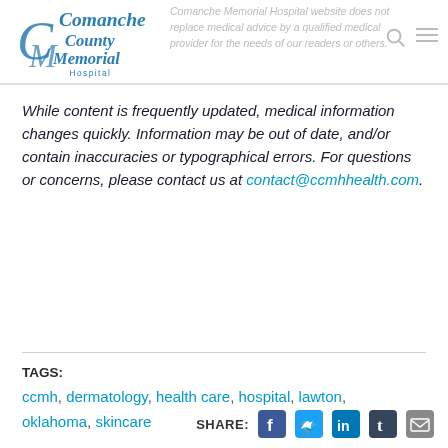Comanche County Memorial Hospital website does not replace medical advice by a qualified medical provider for the needs of our readers or others.
While content is frequently updated, medical information changes quickly. Information may be out of date, and/or contain inaccuracies or typographical errors. For questions or concerns, please contact us at contact@ccmhhealth.com.
TAGS: ccmh, dermatology, health care, hospital, lawton, oklahoma, skincare
SHARE: